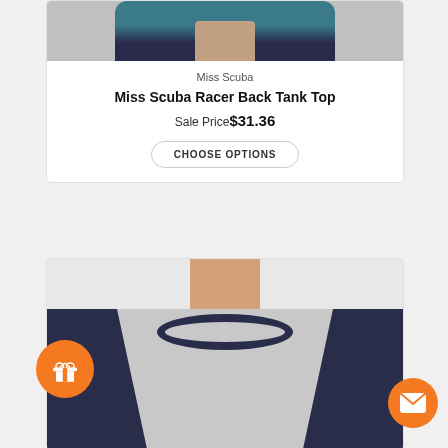[Figure (photo): Cropped image of person wearing a teal/dark tank top, only torso visible from shoulders down]
Miss Scuba
Miss Scuba Racer Back Tank Top
Sale Price$31.36
CHOOSE OPTIONS
[Figure (photo): Cropped image of person wearing a gray and navy blue raglan/baseball style t-shirt, visible from neck down]